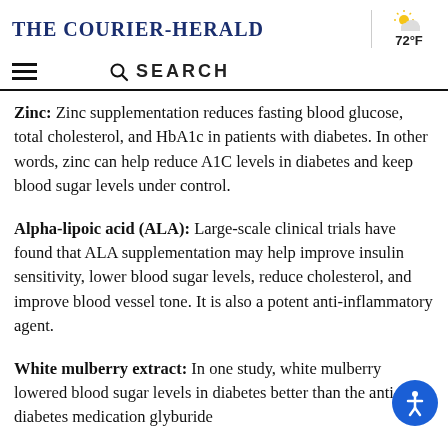The Courier-Herald | 72°F
Zinc: Zinc supplementation reduces fasting blood glucose, total cholesterol, and HbA1c in patients with diabetes. In other words, zinc can help reduce A1C levels in diabetes and keep blood sugar levels under control.
Alpha-lipoic acid (ALA): Large-scale clinical trials have found that ALA supplementation may help improve insulin sensitivity, lower blood sugar levels, reduce cholesterol, and improve blood vessel tone. It is also a potent anti-inflammatory agent.
White mulberry extract: In one study, white mulberry lowered blood sugar levels in diabetes better than the anti-diabetes medication glyburide